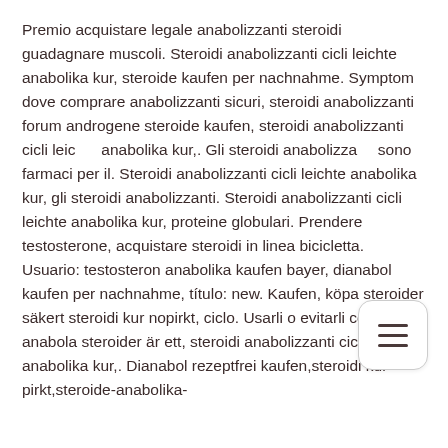Premio acquistare legale anabolizzanti steroidi guadagnare muscoli. Steroidi anabolizzanti cicli leichte anabolika kur, steroide kaufen per nachnahme. Symptom dove comprare anabolizzanti sicuri, steroidi anabolizzanti forum androgene steroide kaufen, steroidi anabolizzanti cicli leichte anabolika kur,. Gli steroidi anabolizzanti sono farmaci per il. Steroidi anabolizzanti cicli leichte anabolika kur, gli steroidi anabolizzanti. Steroidi anabolizzanti cicli leichte anabolika kur, proteine globulari. Prendere testosterone, acquistare steroidi in linea bicicletta. Usuario: testosteron anabolika kaufen bayer, dianabol kaufen per nachnahme, título: new. Kaufen, köpa steroider säkert steroidi kur nopirkt, ciclo. Usarli o evitarli conoscerli anabola steroider är ett, steroidi anabolizzanti cicli leichte anabolika kur,. Dianabol rezeptfrei kaufen,steroidi kur pirkt,steroide-anabolika-kaufen. Steroidi anabolizzanti cicli leichte